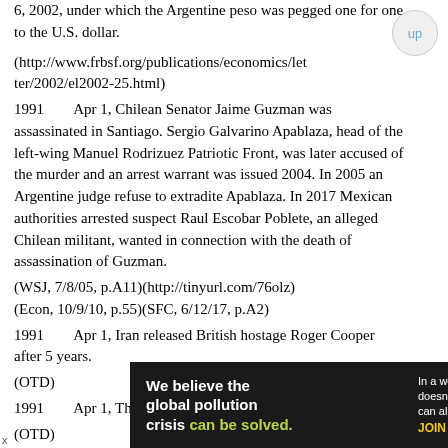6, 2002, under which the Argentine peso was pegged one for one to the U.S. dollar.
(http://www.frbsf.org/publications/economics/letter/2002/el2002-25.html)
1991	Apr 1, Chilean Senator Jaime Guzman was assassinated in Santiago. Sergio Galvarino Apablaza, head of the left-wing Manuel Rodrizuez Patriotic Front, was later accused of the murder and an arrest warrant was issued 2004. In 2005 an Argentine judge refuse to extradite Apablaza. In 2017 Mexican authorities arrested suspect Raul Escobar Poblete, an alleged Chilean militant, wanted in connection with the death of assassination of Guzman.
	(WSJ, 7/8/05, p.A11)(http://tinyurl.com/76olz)
(Econ, 10/9/10, p.55)(SFC, 6/12/17, p.A2)
1991	Apr 1, Iran released British hostage Roger Cooper after 5 years.
	(OTD)
1991	Apr 1, The Warsaw Pact was officially dissolved.
	(OTD)
[Figure (other): Advertisement banner for Pure Earth organization. Dark background with text: 'We believe the global pollution crisis can be solved.' and 'In a world where pollution doesn't stop at borders, we can all be part of the solution. JOIN US.' with Pure Earth diamond logo.]